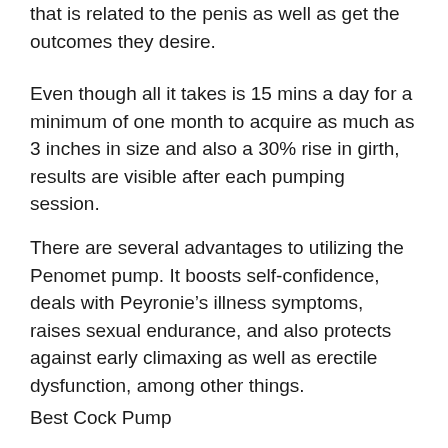that is related to the penis as well as get the outcomes they desire.
Even though all it takes is 15 mins a day for a minimum of one month to acquire as much as 3 inches in size and also a 30% rise in girth, results are visible after each pumping session.
There are several advantages to utilizing the Penomet pump. It boosts self-confidence, deals with Peyronie’s illness symptoms, raises sexual endurance, and also protects against early climaxing as well as erectile dysfunction, among other things.
Best Cock Pump